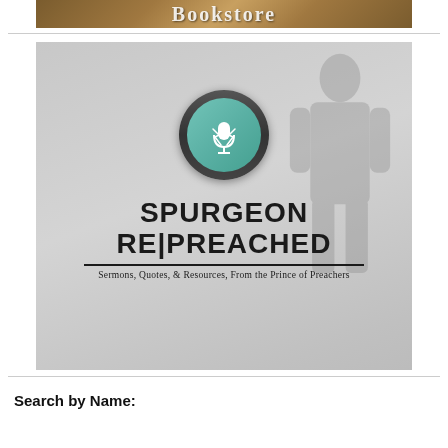[Figure (photo): Bookstore banner with golden-brown gradient background and white stylized text reading 'Bookstore']
[Figure (logo): Spurgeon Repreached logo: gray background with silhouette of a preacher, a teal microphone icon in a dark circle, bold text 'SPURGEON RE|PREACHED', horizontal rule, and subtitle 'Sermons, Quotes, & Resources, From the Prince of Preachers']
Search by Name: